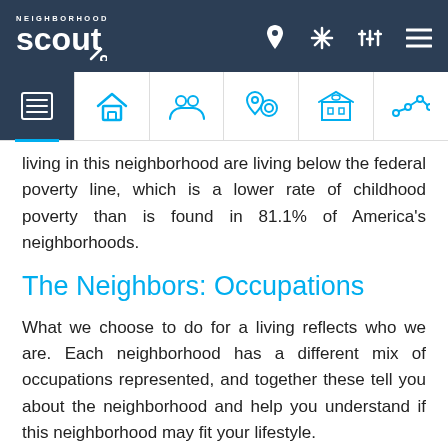Neighborhood Scout navigation header
living in this neighborhood are living below the federal poverty line, which is a lower rate of childhood poverty than is found in 81.1% of America's neighborhoods.
The Neighbors: Occupations
What we choose to do for a living reflects who we are. Each neighborhood has a different mix of occupations represented, and together these tell you about the neighborhood and help you understand if this neighborhood may fit your lifestyle.